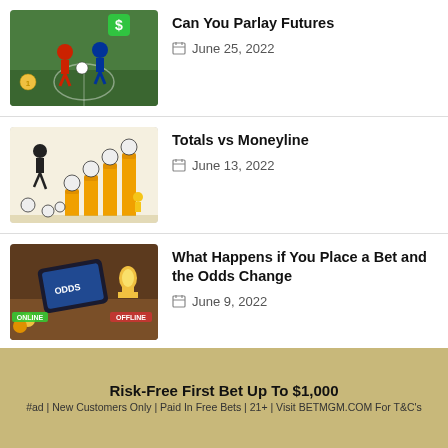[Figure (photo): Soccer players on field with money icons — thumbnail for 'Can You Parlay Futures']
Can You Parlay Futures
June 25, 2022
[Figure (photo): Soccer balls stacked on coins with player silhouette — thumbnail for 'Totals vs Moneyline']
Totals vs Moneyline
June 13, 2022
[Figure (photo): Smartphone on wooden table with trophy and sports betting icons — thumbnail for 'What Happens if You Place a Bet and the Odds Change']
What Happens if You Place a Bet and the Odds Change
June 9, 2022
[Figure (photo): UK flag with stadium background — thumbnail for 'What Sports Get the Most Bets in the UK']
What Sports Get the Most Bets in the UK
[Figure (logo): BetMGM logo — black background with lion icon]
Risk-Free First Bet Up To $1,000
#ad | New Customers Only | Paid In Free Bets | 21+ | Visit BETMGM.COM For T&C's